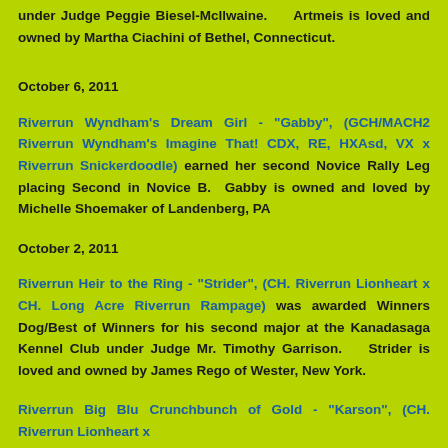under Judge Peggie Biesel-McIlwaine.    Artmeis is loved and owned by Martha Ciachini of Bethel, Connecticut.
October 6, 2011
Riverrun Wyndham's Dream Girl - "Gabby", (GCH/MACH2 Riverrun Wyndham's Imagine That! CDX, RE, HXAsd, VX x Riverrun Snickerdoodle) earned her second Novice Rally Leg placing Second in Novice B.  Gabby is owned and loved by Michelle Shoemaker of Landenberg, PA
October 2, 2011
Riverrun Heir to the Ring - "Strider", (CH. Riverrun Lionheart x CH. Long Acre Riverrun Rampage) was awarded Winners Dog/Best of Winners for his second major at the Kanadasaga Kennel Club under Judge Mr. Timothy Garrison.    Strider is loved and owned by James Rego of Wester, New York.
Riverrun Big Blu Crunchbunch of Gold - "Karson", (CH. Riverrun Lionheart x